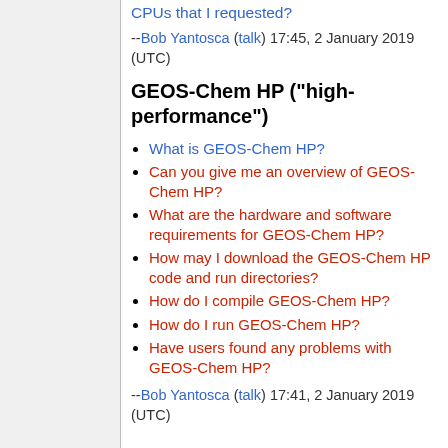CPUs that I requested?
--Bob Yantosca (talk) 17:45, 2 January 2019 (UTC)
GEOS-Chem HP ("high-performance")
What is GEOS-Chem HP?
Can you give me an overview of GEOS-Chem HP?
What are the hardware and software requirements for GEOS-Chem HP?
How may I download the GEOS-Chem HP code and run directories?
How do I compile GEOS-Chem HP?
How do I run GEOS-Chem HP?
Have users found any problems with GEOS-Chem HP?
--Bob Yantosca (talk) 17:41, 2 January 2019 (UTC)